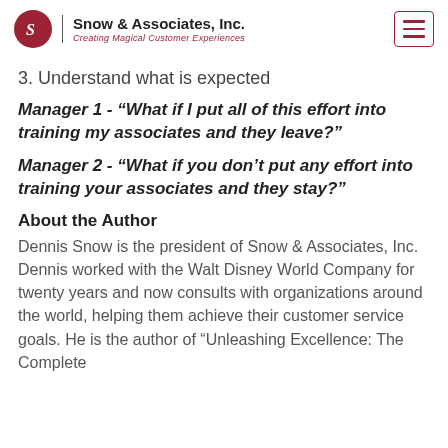Snow & Associates, Inc. — Creating Magical Customer Experiences
3. Understand what is expected
Manager 1 - "What if I put all of this effort into training my associates and they leave?"
Manager 2 - "What if you don't put any effort into training your associates and they stay?"
About the Author
Dennis Snow is the president of Snow & Associates, Inc. Dennis worked with the Walt Disney World Company for twenty years and now consults with organizations around the world, helping them achieve their customer service goals. He is the author of "Unleashing Excellence: The Complete